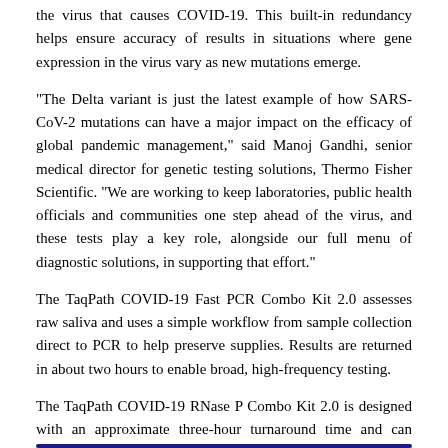the virus that causes COVID-19. This built-in redundancy helps ensure accuracy of results in situations where gene expression in the virus vary as new mutations emerge.
"The Delta variant is just the latest example of how SARS-CoV-2 mutations can have a major impact on the efficacy of global pandemic management," said Manoj Gandhi, senior medical director for genetic testing solutions, Thermo Fisher Scientific. "We are working to keep laboratories, public health officials and communities one step ahead of the virus, and these tests play a key role, alongside our full menu of diagnostic solutions, in supporting that effort."
The TaqPath COVID-19 Fast PCR Combo Kit 2.0 assesses raw saliva and uses a simple workflow from sample collection direct to PCR to help preserve supplies. Results are returned in about two hours to enable broad, high-frequency testing.
The TaqPath COVID-19 RNase P Combo Kit 2.0 is designed with an approximate three-hour turnaround time and can detect SARS-CoV-2 from individuals suspected of COVID-19 by their health care provider, as well as from patients who are asymptomatic.*